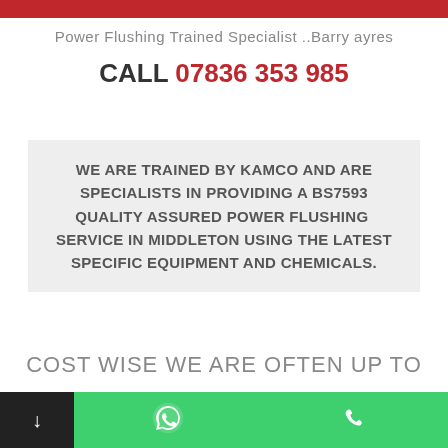Power Flushing Trained Specialist ..Barry ayres
CALL 07836 353 985
WE ARE TRAINED BY KAMCO AND ARE SPECIALISTS IN PROVIDING A BS7593 QUALITY ASSURED POWER FLUSHING  SERVICE IN MIDDLETON USING THE LATEST SPECIFIC EQUIPMENT AND CHEMICALS.
COST WISE WE ARE OFTEN UP TO
50% CHEAPER THAN